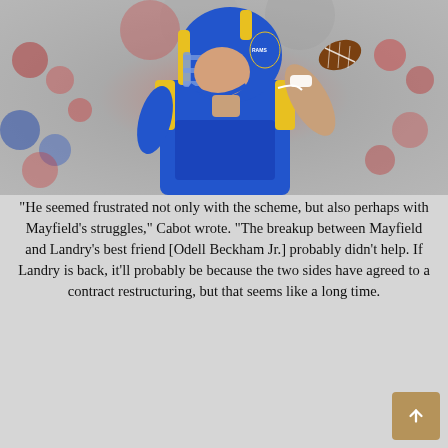[Figure (photo): A Los Angeles Rams quarterback wearing a blue and yellow uniform and helmet preparing to throw a football, with a blurred crowd in the background.]
“He seemed frustrated not only with the scheme, but also perhaps with Mayfield’s struggles,” Cabot wrote. “The breakup between Mayfield and Landry’s best friend [Odell Beckham Jr.] probably didn’t help. If Landry is back, it’ll probably be because the two sides have agreed to a contract restructuring, but that seems like a long time.